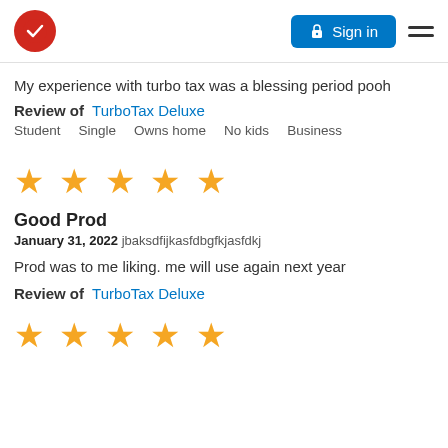TurboTax logo | Sign in | Menu
My experience with turbo tax was a blessing period pooh
Review of  TurboTax Deluxe
Student   Single   Owns home   No kids   Business
[Figure (other): 5 gold stars rating]
Good Prod
January 31, 2022  jbaksdfijkasfdbgfkjasfdkj
Prod was to me liking. me will use again next year
Review of  TurboTax Deluxe
[Figure (other): 5 gold stars rating (partial, bottom of page)]